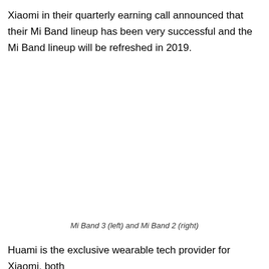Xiaomi in their quarterly earning call announced that their Mi Band lineup has been very successful and the Mi Band lineup will be refreshed in 2019.
Mi Band 3 (left) and Mi Band 2 (right)
Huami is the exclusive wearable tech provider for Xiaomi, both